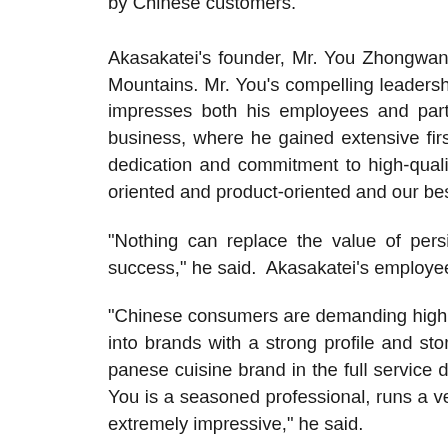by Chinese customers.
Akasakatei's founder, Mr. You Zhongwang hails from Jianyang, Fujian Province, very close to the world famous Wuyi Mountains. Mr. You's compelling leadership, winning personality and the engaging story of how he started his business impresses both his employees and partners. Prior to founding Akasakatei's, he and his family worked in the beef trading business, where he gained extensive first-hand knowledge about best-in-class and beef supply operations. Mr. You's dedication and commitment to high-quality beef can only be described as a passion. Mr. You said, "We're customer-oriented and product-oriented and our best-in-class beef is the key to Akasakatei's success."
"Nothing can replace the value of persistence," said Mr. You. "Not talent, not genius – persistence is the key to success," he said. Akasakatei's employees all live these values and practice this spirit of perseverance.
"Chinese consumers are demanding higher quality food and more innovative dining experiences — and they are buying into brands with a strong profile and story. Akasakatei is the leading Japanese all-inclusive teppanyaki, BBQ and Japanese cuisine brand in the full service dining segment," said Harry Hui, Managing Director of ClearVue Partners. "Mr. You is a seasoned professional, runs a very tight operation and is respected by his employees. His execution has been extremely impressive," he said.
About Akasakatei
Founded May 18, 2008 in Shanghai, Akasakatei is China's leading all-inclusive teppanyaki, BBQ and Japanese-cuisine restaurant. In addition to Akasakatei, the company also owns the distinct and soon to launch restaurant brand...